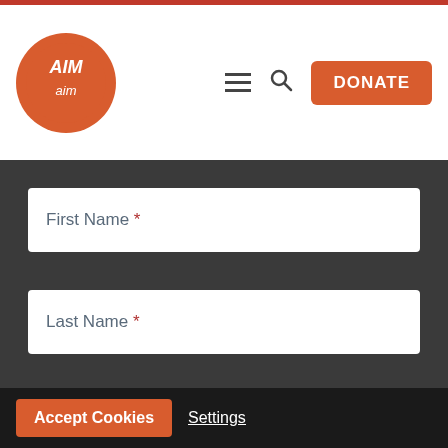[Figure (logo): Circular orange logo with stylized white text/illustration on orange background, resembling 'Aim' organization logo]
[Figure (other): Hamburger menu icon (three horizontal lines)]
[Figure (other): Search magnifying glass icon]
DONATE
First Name *
Last Name *
Your Email *
Accept Cookies
Settings